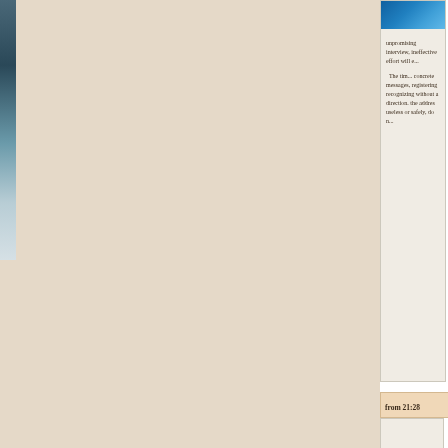[Figure (photo): Small blue photo thumbnail at the top right of the article card]
unpromising interview, ineffective effort will e... The tim... concrete messages, registering recognizing without a direction. the addres useless or safely, do n...
from 21:28